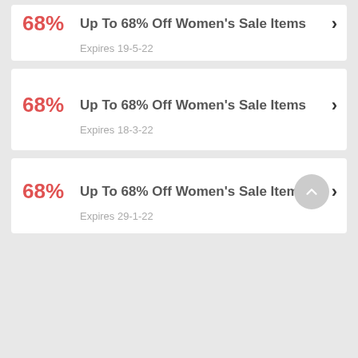68% — Up To 68% Off Women's Sale Items — Expires 19-5-22
68% — Up To 68% Off Women's Sale Items — Expires 18-3-22
68% — Up To 68% Off Women's Sale Items — Expires 29-1-22